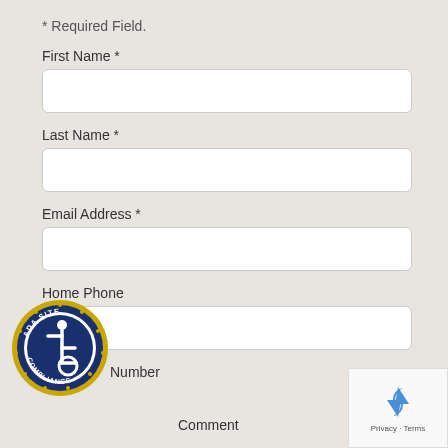* Required Field.
First Name *
Last Name *
Email Address *
Home Phone
Number
Comment
[Figure (logo): ADA Site Compliance badge — circular blue and gold seal with wheelchair accessibility icon in center, text reads ADA SITE COMPLIANCE around the border]
[Figure (other): reCAPTCHA widget with rotating arrows icon and Privacy / Terms links]